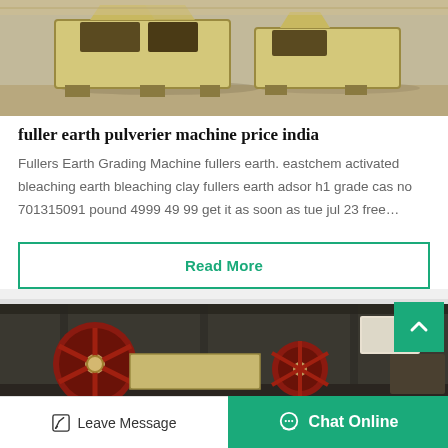[Figure (photo): Industrial yellow crushing/pulverizing machines on a warehouse floor]
fuller earth pulverier machine price india
Fullers Earth Grading Machine fullers earth. eastchem activated bleaching earth bleaching clay fullers earth adsor h1 grade cas no 701315091 pound 4999 49 99 get it as soon as tue jul 23 free…
Read More
[Figure (photo): Industrial jaw crusher or roller machine inside a factory building]